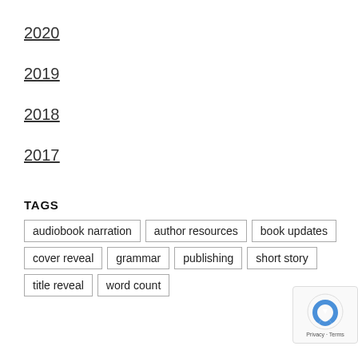2020
2019
2018
2017
TAGS
audiobook narration
author resources
book updates
cover reveal
grammar
publishing
short story
title reveal
word count